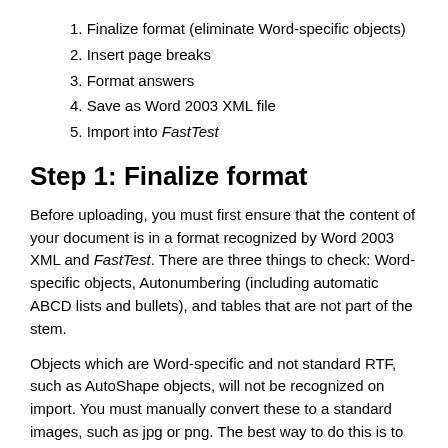1. Finalize format (eliminate Word-specific objects)
2. Insert page breaks
3. Format answers
4. Save as Word 2003 XML file
5. Import into FastTest
Step 1: Finalize format
Before uploading, you must first ensure that the content of your document is in a format recognized by Word 2003 XML and FastTest. There are three things to check: Word-specific objects, Autonumbering (including automatic ABCD lists and bullets), and tables that are not part of the stem.
Objects which are Word-specific and not standard RTF, such as AutoShape objects, will not be recognized on import. You must manually convert these to a standard images, such as jpg or png. The best way to do this is to take a screen